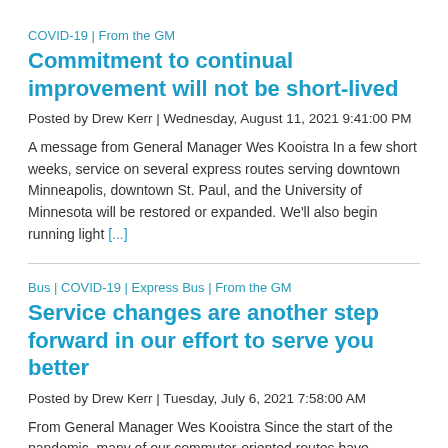COVID-19 | From the GM
Commitment to continual improvement will not be short-lived
Posted by Drew Kerr | Wednesday, August 11, 2021 9:41:00 PM
A message from General Manager Wes Kooistra In a few short weeks, service on several express routes serving downtown Minneapolis, downtown St. Paul, and the University of Minnesota will be restored or expanded. We'll also begin running light [...]
Bus | COVID-19 | Express Bus | From the GM
Service changes are another step forward in our effort to serve you better
Posted by Drew Kerr | Tuesday, July 6, 2021 7:58:00 AM
From General Manager Wes Kooistra Since the start of the pandemic, many of our commuter-oriented routes have